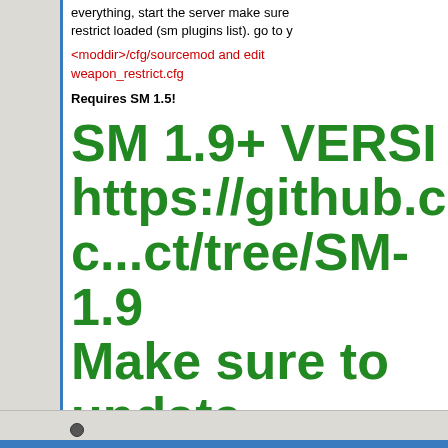everything, start the server make sure restrict loaded (sm plugins list). go to y
<moddir>/cfg/sourcemod and edit weapon_restrict.cfg
Requires SM 1.5!
SM 1.9+ VERSIO https://github.com c...ct/tree/SM-1.9 Make sure to update translatio
Attached Files
weapon-restrict-3.1.7.zip (75.2 KB, 224 views)
Last edited by Dr!fter; 03-28-2020 at 07:27.